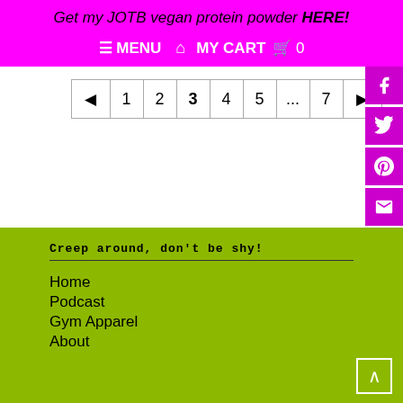Get my JOTB vegan protein powder HERE!
≡ MENU  🏠 MY CART 🛒 0
◄ 1 2 3 4 5 ... 7 ►
Creep around, don't be shy!
Home
Podcast
Gym Apparel
About